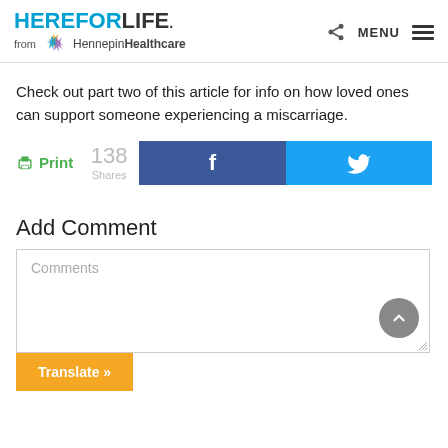HEREFORLIFE from Hennepin Healthcare
Check out part two of this article for info on how loved ones can support someone experiencing a miscarriage.
[Figure (screenshot): Social sharing bar with Print button, 138 Shares count, Facebook share button, and Twitter share button]
Add Comment
[Figure (screenshot): Comment text box with placeholder text 'Comments', scroll-to-top button, and resize handle]
[Figure (screenshot): Orange Translate button at bottom left]